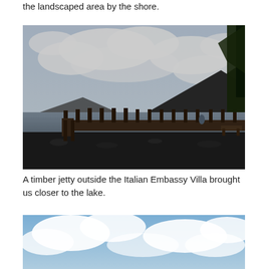the landscaped area by the shore.
[Figure (photo): A timber jetty extending along a rocky shoreline with a large lake and dramatic mountain in the background under a cloudy sky. A person sits at the end of the jetty. Trees are visible on the right edge.]
A timber jetty outside the Italian Embassy Villa brought us closer to the lake.
[Figure (photo): Partial view of a blue sky with white clouds, likely showing a lake or outdoor scenic area, cropped at the bottom of the page.]